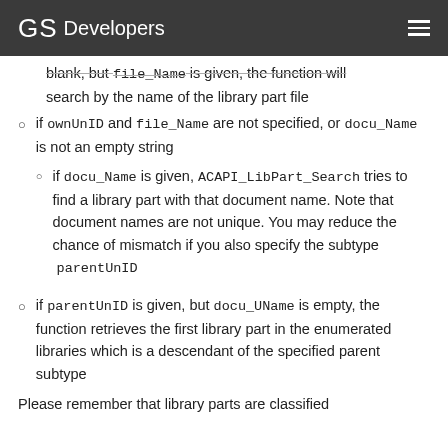GS Developers
blank, but file_Name is given, the function will search by the name of the library part file
if ownUnID and file_Name are not specified, or docu_Name is not an empty string
if docu_Name is given, ACAPI_LibPart_Search tries to find a library part with that document name. Note that document names are not unique. You may reduce the chance of mismatch if you also specify the subtype parentUnID
if parentUnID is given, but docu_UName is empty, the function retrieves the first library part in the enumerated libraries which is a descendant of the specified parent subtype
Please remember that library parts are classified